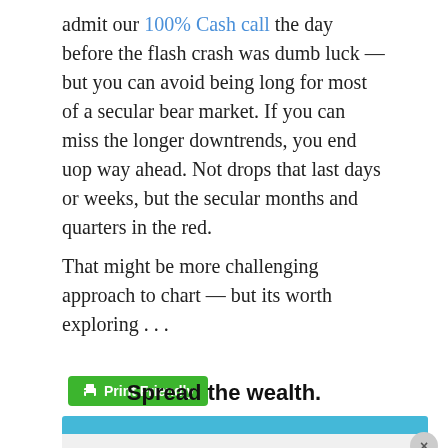admit our 100% Cash call the day before the flash crash was dumb luck — but you can avoid being long for most of a secular bear market. If you can miss the longer downtrends, you end uop way ahead. Not drops that last days or weeks, but the secular months and quarters in the red.
That might be more challenging approach to chart — but its worth exploring . . .
[Figure (screenshot): Print Friendly button (green) and 'Spread the wealth.' heading, followed by a Twitter social sharing widget and Facebook sharing row with a close button (×)]